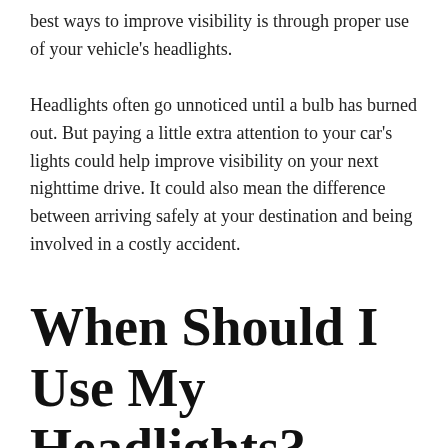best ways to improve visibility is through proper use of your vehicle's headlights.
Headlights often go unnoticed until a bulb has burned out. But paying a little extra attention to your car's lights could help improve visibility on your next nighttime drive. It could also mean the difference between arriving safely at your destination and being involved in a costly accident.
When Should I Use My Headlights?
This statement is obvious, but it's still worth noting: